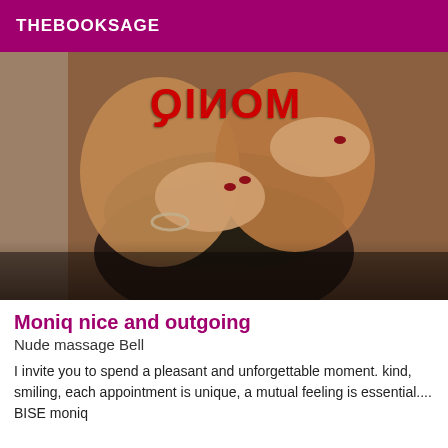THEBOOKSAGE
[Figure (photo): Close-up photo of a woman in black lingerie, with a red mirrored watermark text 'MONIQ' overlaid on the image]
Moniq nice and outgoing
Nude massage Bell
I invite you to spend a pleasant and unforgettable moment. kind, smiling, each appointment is unique, a mutual feeling is essential.... BISE moniq